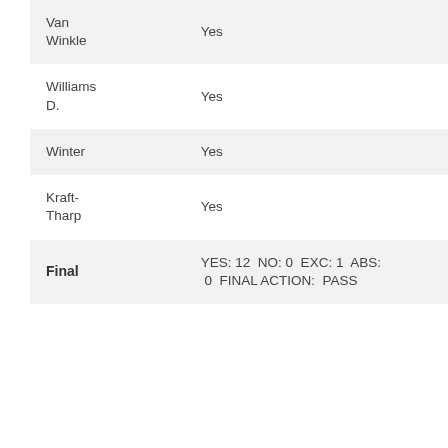| Name | Vote |
| --- | --- |
| Van Winkle | Yes |
| Williams D. | Yes |
| Winter | Yes |
| Kraft-Tharp | Yes |
| Final | YES: 12  NO: 0  EXC: 1  ABS: 0  FINAL ACTION:  PASS |